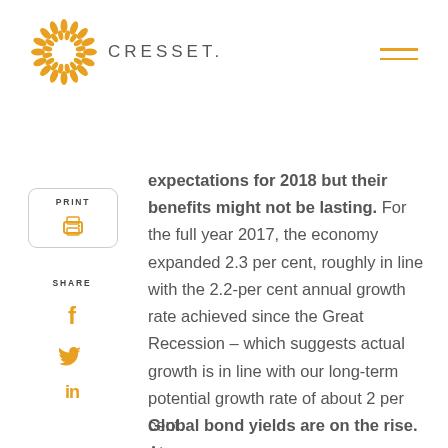CRESSET.
[Figure (logo): Cresset company logo with orange sunburst icon and wordmark CRESSET.]
PRINT
SHARE
expectations for 2018 but their benefits might not be lasting. For the full year 2017, the economy expanded 2.3 per cent, roughly in line with the 2.2-per cent annual growth rate achieved since the Great Recession – which suggests actual growth is in line with our long-term potential growth rate of about 2 per cent.
Global bond yields are on the rise. At